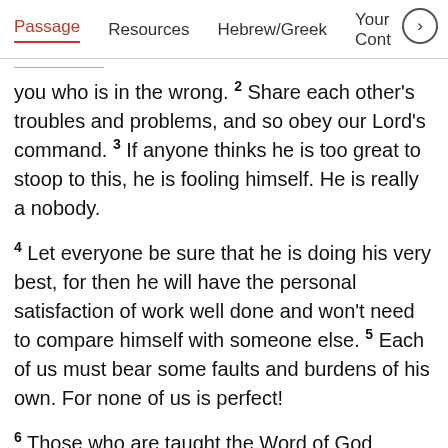Passage  Resources  Hebrew/Greek  Your Cont >
you who is in the wrong. 2 Share each other's troubles and problems, and so obey our Lord's command. 3 If anyone thinks he is too great to stoop to this, he is fooling himself. He is really a nobody.
4 Let everyone be sure that he is doing his very best, for then he will have the personal satisfaction of work well done and won't need to compare himself with someone else. 5 Each of us must bear some faults and burdens of his own. For none of us is perfect!
6 Those who are taught the Word of God should help their teachers by paying them.
7 Don't be misled; remember that you can't ignore